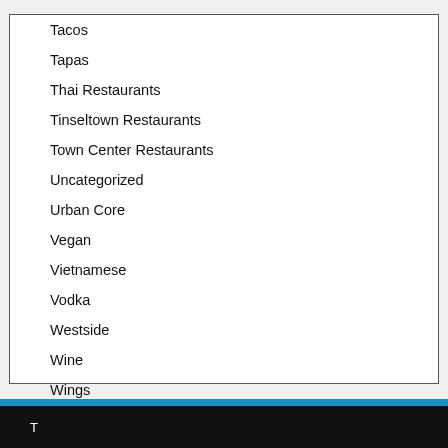Tacos
Tapas
Thai Restaurants
Tinseltown Restaurants
Town Center Restaurants
Uncategorized
Urban Core
Vegan
Vietnamese
Vodka
Westside
Wine
Wings
T